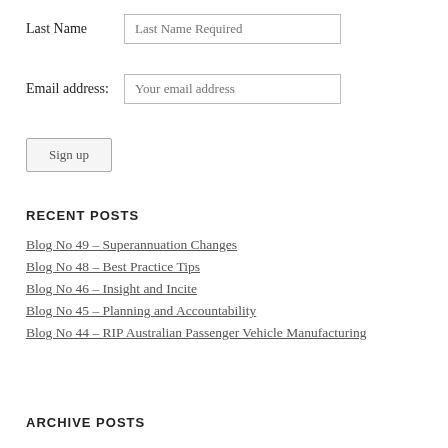Last Name  [Last Name Required]
Email address:  [Your email address]
Sign up
RECENT POSTS
Blog No 49 – Superannuation Changes
Blog No 48 – Best Practice Tips
Blog No 46 – Insight and Incite
Blog No 45 – Planning and Accountability
Blog No 44 – RIP Australian Passenger Vehicle Manufacturing
ARCHIVE POSTS